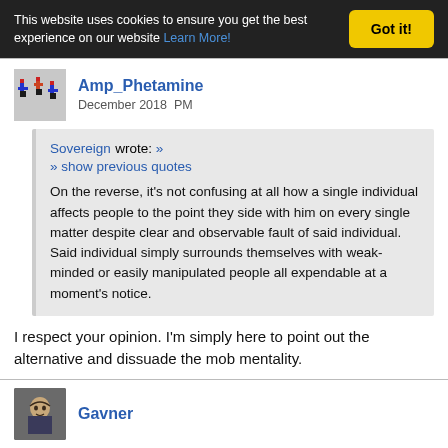This website uses cookies to ensure you get the best experience on our website Learn More! Got it!
Amp_Phetamine
December 2018  PM
Sovereign wrote: »
» show previous quotes
On the reverse, it's not confusing at all how a single individual affects people to the point they side with him on every single matter despite clear and observable fault of said individual. Said individual simply surrounds themselves with weak-minded or easily manipulated people all expendable at a moment's notice.
I respect your opinion. I'm simply here to point out the alternative and dissuade the mob mentality.
Gavner